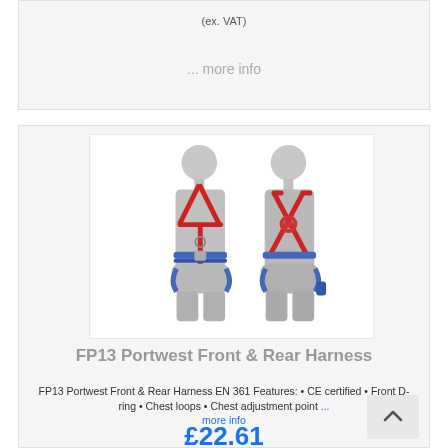(ex. VAT)
... more info
[Figure (photo): Two silver mannequin torsos displaying a safety harness front and rear view. The harness has red straps and blue waist/leg straps.]
FP13 Portwest Front & Rear Harness
FP13 Portwest Front & Rear Harness EN 361 Features: • CE certified • Front D-ring • Chest loops • Chest adjustment point ...
more info
£22.61
(ex. VAT)